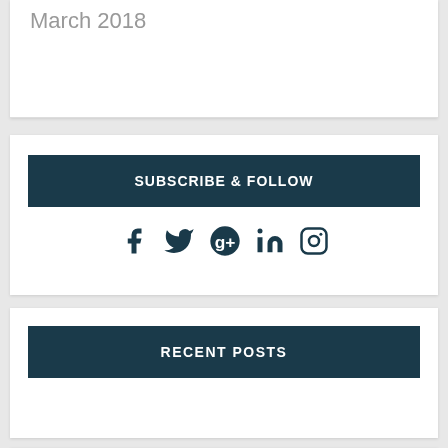March 2018
SUBSCRIBE & FOLLOW
[Figure (infographic): Social media icons: Facebook, Twitter, Google+, LinkedIn, Instagram]
RECENT POSTS
[Figure (photo): Child smiling, holding a book or mug]
Should I let my child close their bedroom door?
December 20, 2019
[Figure (illustration): Green square with checkmark/arrow icon]
Let it go